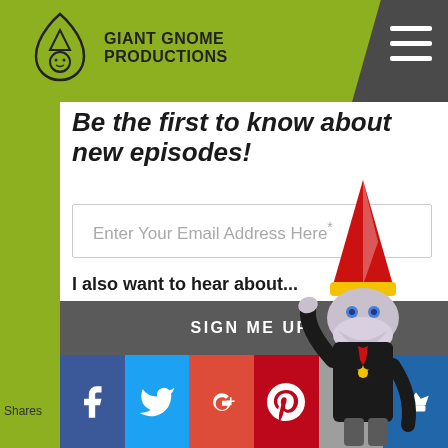GIANT GNOME PRODUCTIONS
Be the first to know about new episodes!
Enter Your Email Address Here*
I also want to hear about...
Casting Calls
Giant Gnome News, Events, and Blog
[Figure (illustration): Cartoon gnome character in black Star Trek uniform with red pointed hat]
SIGN ME UP!
Shares | Facebook | Twitter | Google+ | Pinterest | Email | Crown